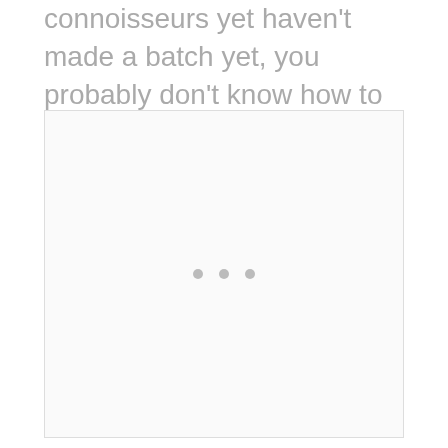connoisseurs yet haven't made a batch yet, you probably don't know how to make quality mulled wine. In particular, you probably don't know which red wines are best suited for mulling and spicing up.
[Figure (other): A large empty placeholder image box with a light border and three small gray dots centered in the lower-middle area, indicating a loading or placeholder state.]